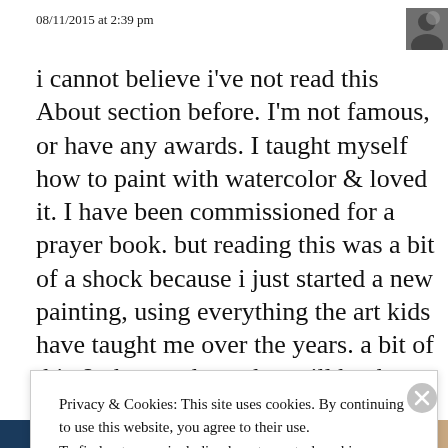08/11/2015 at 2:39 pm
i cannot believe i've not read this About section before. I'm not famous, or have any awards. I taught myself how to paint with watercolor & loved it. I have been commissioned for a prayer book. but reading this was a bit of a shock because i just started a new painting, using everything the art kids have taught me over the years. a bit of this & that, perhaps that will be the
Privacy & Cookies: This site uses cookies. By continuing to use this website, you agree to their use.
To find out more, including how to control cookies, see here: Cookie Policy
Close and accept